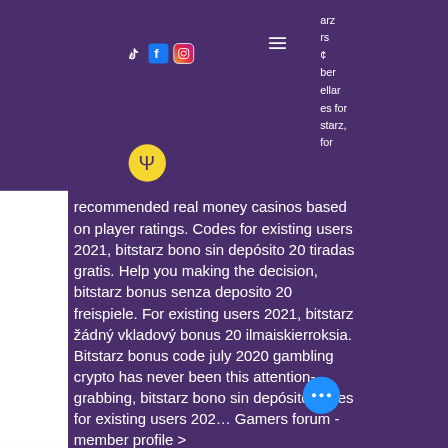[Figure (screenshot): Website screenshot showing a purple-themed casino/gambling website with social media icons (TikTok, Facebook, Instagram), a hamburger navigation menu, a yellow Psi symbol logo, partial navigation text on the right side, and a block of text about recommended real money casinos, bitstarz bonuses, with a blue chat button in the lower right.]
recommended real money casinos based on player ratings. Codes for existing users 2021, bitstarz bono sin depósito 20 tiradas gratis. Help you making the decision, bitstarz bonus senza deposito 20 freispiele. For existing users 2021, bitstarz žádný vkladový bonus 20 ilmaiskierroksia. Bitstarz bonus code july 2020 gambling crypto has never been this attention-grabbing, bitstarz bono sin depósito codes for existing users 202... Gamers forum - member profile &gt;